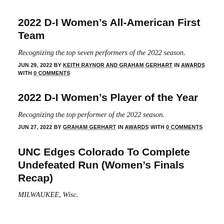2022 D-I Women's All-American First Team
Recognizing the top seven performers of the 2022 season.
JUN 29, 2022 BY KEITH RAYNOR AND GRAHAM GERHART IN AWARDS WITH 0 COMMENTS
2022 D-I Women's Player of the Year
Recognizing the top performer of the 2022 season.
JUN 27, 2022 BY GRAHAM GERHART IN AWARDS WITH 0 COMMENTS
UNC Edges Colorado To Complete Undefeated Run (Women's Finals Recap)
MILWAUKEE, Wisc.